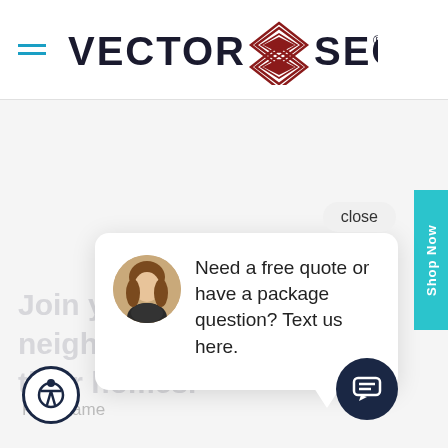[Figure (screenshot): Vector Security website header with hamburger menu icon and logo]
close
Need a free quote or have a package question? Text us here.
Join yo... neighb... their homes.
First Name
Shop Now